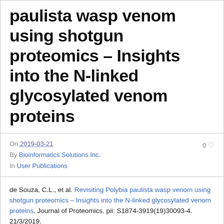paulista wasp venom using shotgun proteomics – Insights into the N-linked glycosylated venom proteins
On 2019-03-21  By Bioinformatics Solutions Inc.  In User Publications  0 ♥
de Souza, C.L., et al. Revisiting Polybia paulista wasp venom using shotgun proteomics – Insights into the N-linked glycosylated venom proteins. Journal of Proteomics. pii: S1874-3919(19)30093-4. 21/3/2019.